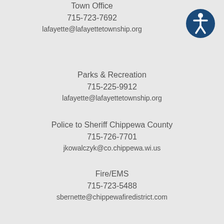Town Office
715-723-7692
lafayette@lafayettetownship.org
Parks & Recreation
715-225-9912
lafayette@lafayettetownship.org
Police to Sheriff Chippewa County
715-726-7701
jkowalczyk@co.chippewa.wi.us
Fire/EMS
715-723-5488
sbernette@chippewafiredistrict.com
[Figure (illustration): Accessibility icon: blue circle with white stick figure with arms raised]